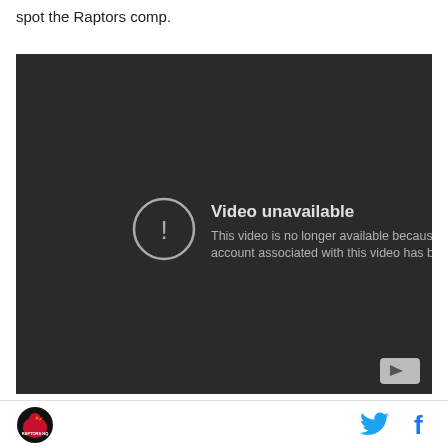spot the Raptors comp.
[Figure (screenshot): YouTube video unavailable placeholder with dark background showing 'Video unavailable' message and 'This video is no longer available because the YouTube account associated with this video has been terminated.']
(Before we continue: shout out to Idris Elba and his
[Figure (logo): Raptors HQ logo (red bird icon) and social media icons (Twitter bird and Facebook f) in footer]